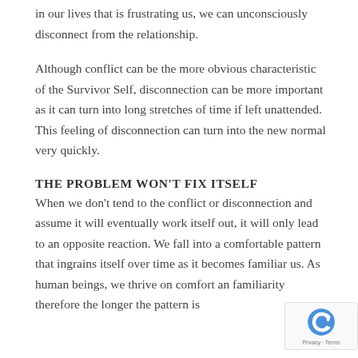in our lives that is frustrating us, we can unconsciously disconnect from the relationship.
Although conflict can be the more obvious characteristic of the Survivor Self, disconnection can be more important as it can turn into long stretches of time if left unattended. This feeling of disconnection can turn into the new normal very quickly.
THE PROBLEM WON'T FIX ITSELF
When we don't tend to the conflict or disconnection and assume it will eventually work itself out, it will only lead to an opposite reaction. We fall into a comfortable pattern that ingrains itself over time as it becomes familiar us. As human beings, we thrive on comfort an familiarity therefore the longer the pattern is